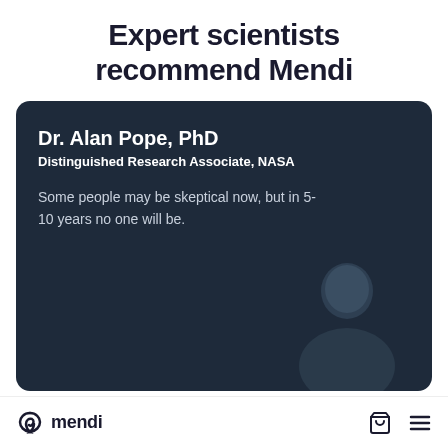Expert scientists recommend Mendi
Dr. Alan Pope, PhD
Distinguished Research Associate, NASA

Some people may be skeptical now, but in 5-10 years no one will be.
[Figure (photo): Dark navy card with photo of Dr. Alan Pope, PhD, Distinguished Research Associate at NASA, with quote about skepticism]
mendi [logo and navigation icons]